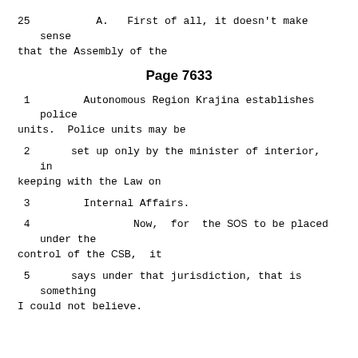25         A.   First of all, it doesn't make sense that the Assembly of the
Page 7633
1       Autonomous Region Krajina establishes police units.  Police units may be
2     set up only by the minister of interior, in keeping with the Law on
3       Internal Affairs.
4               Now,  for  the SOS to be placed under the control of the CSB,  it
5     says under that jurisdiction, that is something I could not believe.